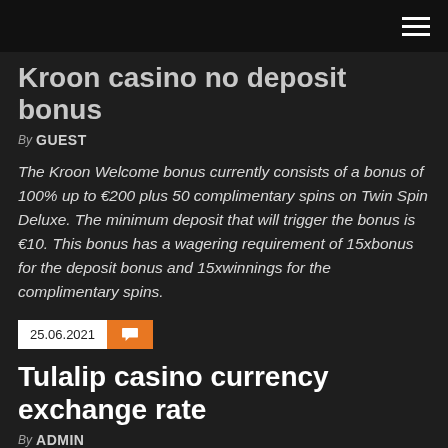Kroon casino no deposit bonus
By GUEST
The Kroon Welcome bonus currently consists of a bonus of 100% up to €200 plus 50 complimentary spins on Twin Spin Deluxe. The minimum deposit that will trigger the bonus is €10. This bonus has a wagering requirement of 15xbonus for the deposit bonus and 15xwinnings for the complimentary spins.
25.06.2021
Tulalip casino currency exchange rate
By ADMIN
TULALIP RESORT CASINO $149 ($272) - Updated 2019 ...